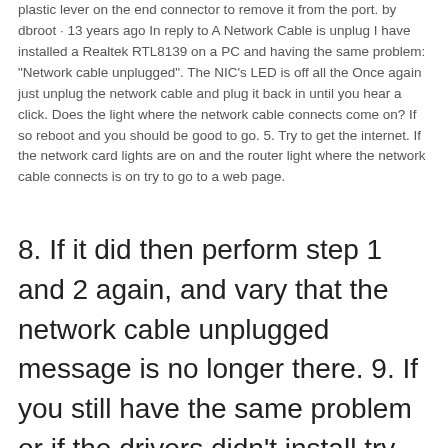plastic lever on the end connector to remove it from the port. by dbroot · 13 years ago In reply to A Network Cable is unplug I have installed a Realtek RTL8139 on a PC and having the same problem: 'Network cable unplugged'. The NIC's LED is off all the Once again just unplug the network cable and plug it back in until you hear a click. Does the light where the network cable connects come on? If so reboot and you should be good to go. 5. Try to get the internet. If the network card lights are on and the router light where the network cable connects is on try to go to a web page.
8. If it did then perform step 1 and 2 again, and vary that the network cable unplugged message is no longer there. 9. If you still have the same problem or if the drivers didn't install try installing the drivers you download before and perform steps 1 and 2 again, and